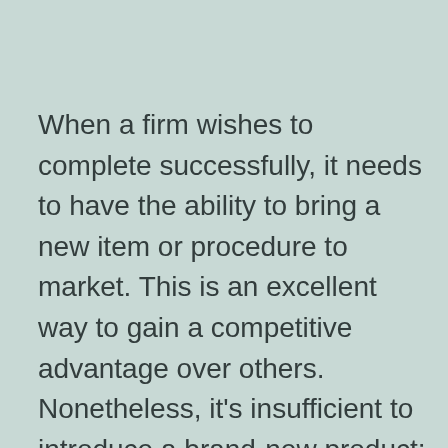When a firm wishes to complete successfully, it needs to have the ability to bring a new item or procedure to market. This is an excellent way to gain a competitive advantage over others. Nonetheless, it's insufficient to introduce a brand-new product; business should additionally have the ability to enhance existing products. A wonderful example of this is Apple's intro of the apple iphone. Yet development is not only regarding products. It can be put on procedures, basic ways of doing